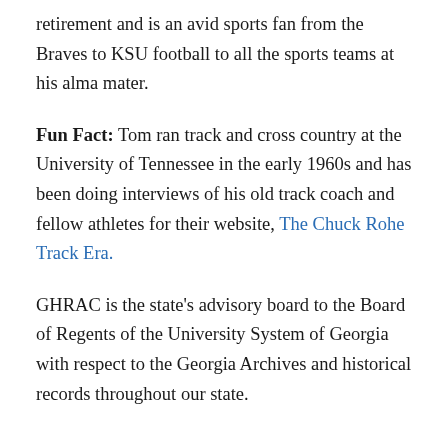retirement and is an avid sports fan from the Braves to KSU football to all the sports teams at his alma mater.
Fun Fact: Tom ran track and cross country at the University of Tennessee in the early 1960s and has been doing interviews of his old track coach and fellow athletes for their website, The Chuck Rohe Track Era.
GHRAC is the state's advisory board to the Board of Regents of the University System of Georgia with respect to the Georgia Archives and historical records throughout our state.